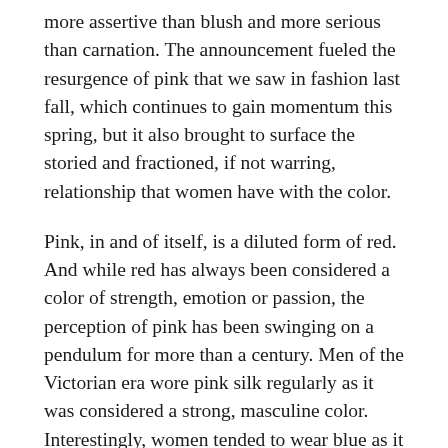more assertive than blush and more serious than carnation. The announcement fueled the resurgence of pink that we saw in fashion last fall, which continues to gain momentum this spring, but it also brought to surface the storied and fractioned, if not warring, relationship that women have with the color.
Pink, in and of itself, is a diluted form of red. And while red has always been considered a color of strength, emotion or passion, the perception of pink has been swinging on a pendulum for more than a century. Men of the Victorian era wore pink silk regularly as it was considered a strong, masculine color. Interestingly, women tended to wear blue as it was considered softer and more passive. By the early 20th century, pervasive Freudian thought concerning child development gained popularity, and parents were encouraged to differentiate the sexes of their children at an earlier age. Cue pink clothes and Barbie.